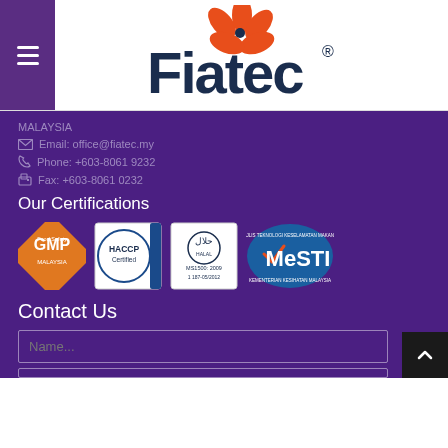[Figure (logo): Fiatec logo with orange flower graphic and dark navy text, with registered trademark symbol]
MALAYSIA
Email: office@fiatec.my
Phone: +603-8061 9232
Fax: +603-8061 0232
Our Certifications
[Figure (logo): Four certification logos: GMP Malaysia (orange diamond), HACCP Certified (circular badge), Halal MS1500:2009 I 187-05/2012 (white square), MeSTI Kementerian Kesihatan Malaysia (blue oval)]
Contact Us
Name...